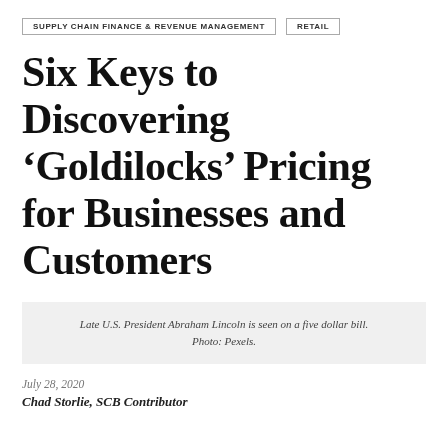SUPPLY CHAIN FINANCE & REVENUE MANAGEMENT | RETAIL
Six Keys to Discovering ‘Goldilocks’ Pricing for Businesses and Customers
Late U.S. President Abraham Lincoln is seen on a five dollar bill. Photo: Pexels.
July 28, 2020
Chad Storlie, SCB Contributor